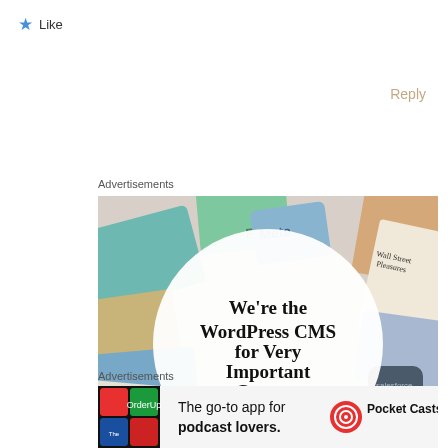★ Like
Reply
Advertisements
[Figure (illustration): WordPress VIP advertisement showing colorful branded cards (Meta, Facebook, Capgemini, Merck, Hachette, Wall Street Journal, etc.) arranged around a central white circle with text 'We're the WordPress CMS for Very Important Content' with a WP VIP logo and 'Learn more →' button.]
Advertisements
[Figure (illustration): Pocket Casts advertisement: colorful app icon grid on the left, text 'The go-to app for podcast lovers.' in the center, Pocket Casts logo on the right.]